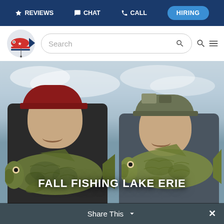REVIEWS  CHAT  CALL  HIRING
[Figure (logo): Fishing guide service logo with fish graphic and American flag colors]
Search
[Figure (photo): Two men holding large smallmouth bass fish on Lake Erie, overcast sky, text overlay reads FALL FISHING LAKE ERIE]
FALL FISHING LAKE ERIE
Share This  ✓  ✕